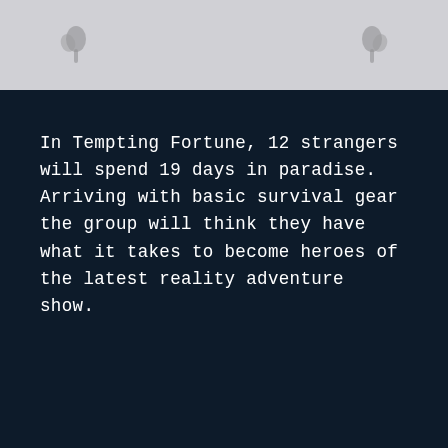[Figure (illustration): Top panel with light grey background and two small dark leaf/plant icons on left and right sides]
In Tempting Fortune, 12 strangers will spend 19 days in paradise. Arriving with basic survival gear the group will think they have what it takes to become heroes of the latest reality adventure show.